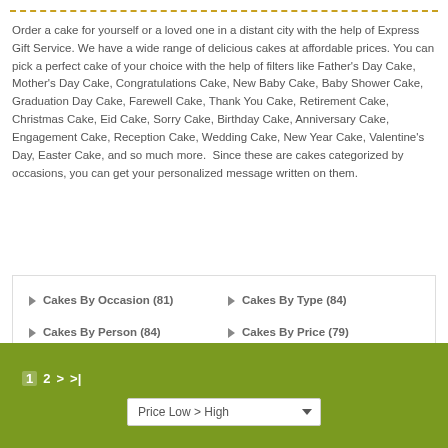Order a cake for yourself or a loved one in a distant city with the help of Express Gift Service. We have a wide range of delicious cakes at affordable prices. You can pick a perfect cake of your choice with the help of filters like Father's Day Cake, Mother's Day Cake, Congratulations Cake, New Baby Cake, Baby Shower Cake, Graduation Day Cake, Farewell Cake, Thank You Cake, Retirement Cake, Christmas Cake, Eid Cake, Sorry Cake, Birthday Cake, Anniversary Cake, Engagement Cake, Reception Cake, Wedding Cake, New Year Cake, Valentine's Day, Easter Cake, and so much more.  Since these are cakes categorized by occasions, you can get your personalized message written on them.
Cakes By Occasion (81)
Cakes By Type (84)
Cakes By Person (84)
Cakes By Price (79)
Next Day Cakes Delivery (84)
All Cakes (85)
1 2 > >| Price Low > High